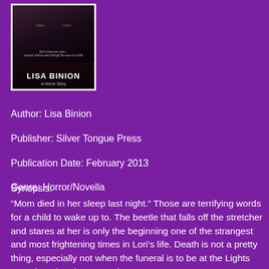[Figure (illustration): Book cover for a horror novella by Lisa Binion, published by Silver Tongue Press. Dark cover with a face partially visible, author name 'LISA BINION' in white text, tagline 'Don't close your eyes... and evil shall be seen through the eyes of a child!', subtitle 'A Horror Story'. Framed with a white border.]
Author: Lisa Binion
Publisher: Silver Tongue Press
Publication Date: February 2013
Genre: Horror/Novella
Synopsis:
“Mom died in her sleep last night.” Those are terrifying words for a child to wake up to. The beetle that falls off the stretcher and stares at her is only the beginning one of the strangest and most frightening times in Lori’s life. Death is not a pretty thing, especially not when the funeral is to be at the Lights Out Chapel and Crematorium.
Once she walks into the funeral parlor, she experiences things that no little girl should ever have to experience. No one is acting normal. No one can see what is going on. Is Lori the only one who sees the blood oozing from the